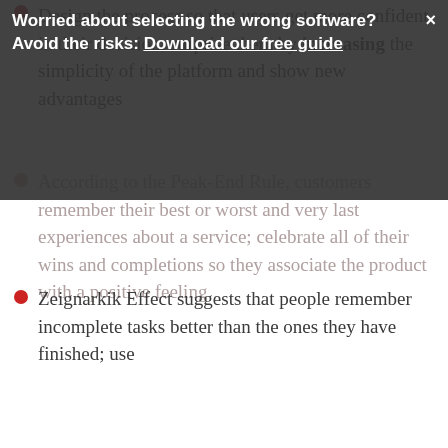Design the process so that users get more confident in their decision; surprise them by increasing the simplicity of the platform and show new advantages
Worried about selecting the wrong software? Avoid the risks: Download our free guide
According to the Peak-End Rule, customers remember their best or worst and very last experiences about a service; celebrate all of their wins and completions so they associate the product with a positive feeling
Zeignarkik Effect suggests that people remember incomplete tasks better than the ones they have finished; use